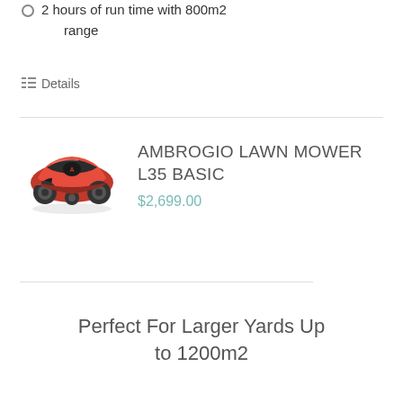2 hours of run time with 800m2 range
Details
[Figure (photo): Red Ambrogio robotic lawn mower L35 Basic, viewed from front-left angle, red body with black accents and wheels]
AMBROGIO LAWN MOWER L35 BASIC
$2,699.00
Perfect For Larger Yards Up to 1200m2